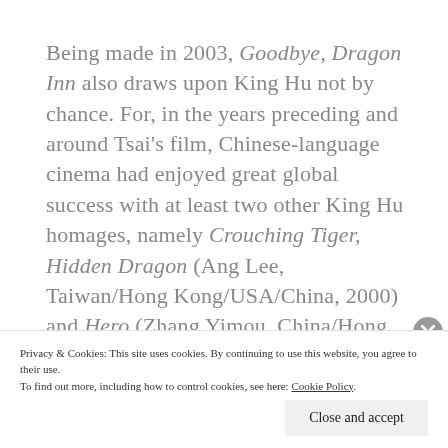Being made in 2003, Goodbye, Dragon Inn also draws upon King Hu not by chance. For, in the years preceding and around Tsai's film, Chinese-language cinema had enjoyed great global success with at least two other King Hu homages, namely Crouching Tiger, Hidden Dragon (Ang Lee, Taiwan/Hong Kong/USA/China, 2000) and Hero (Zhang Yimou, China/Hong Kong, 2002). These two action flicks kind of set the bar for money-making transnational Chinese
Privacy & Cookies: This site uses cookies. By continuing to use this website, you agree to their use. To find out more, including how to control cookies, see here: Cookie Policy
Close and accept